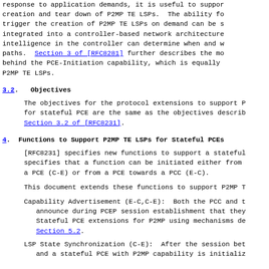response to application demands, it is useful to support creation and tear down of P2MP TE LSPs. The ability to trigger the creation of P2MP TE LSPs on demand can be integrated into a controller-based network architecture intelligence in the controller can determine when and where paths. Section 3 of [RFC8281] further describes the motivation behind the PCE-Initiation capability, which is equally applicable to P2MP TE LSPs.
3.2. Objectives
The objectives for the protocol extensions to support P2MP for stateful PCE are the same as the objectives described in Section 3.2 of [RFC8231].
4. Functions to Support P2MP TE LSPs for Stateful PCEs
[RFC8231] specifies new functions to support a stateful PCE. It specifies that a function can be initiated either from a PCC towards a PCE (C-E) or from a PCE towards a PCC (E-C).
This document extends these functions to support P2MP TE LSPs.
Capability Advertisement (E-C,C-E): Both the PCC and the PCE announce during PCEP session establishment that they support Stateful PCE extensions for P2MP using mechanisms described in Section 5.2.
LSP State Synchronization (C-E): After the session between a PCC and a stateful PCE with P2MP capability is initialized,